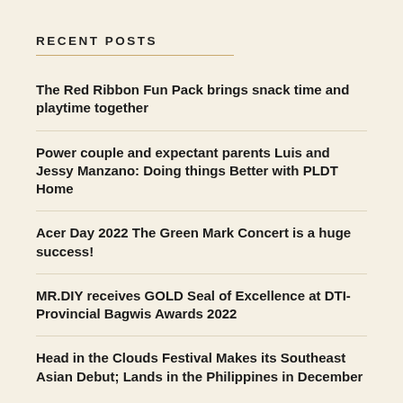RECENT POSTS
The Red Ribbon Fun Pack brings snack time and playtime together
Power couple and expectant parents Luis and Jessy Manzano: Doing things Better with PLDT Home
Acer Day 2022 The Green Mark Concert is a huge success!
MR.DIY receives GOLD Seal of Excellence at DTI-Provincial Bagwis Awards 2022
Head in the Clouds Festival Makes its Southeast Asian Debut; Lands in the Philippines in December